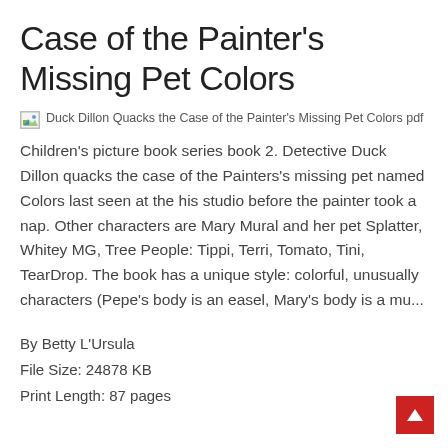Case of the Painter's Missing Pet Colors
[Figure (illustration): Broken image placeholder for Duck Dillon Quacks the Case of the Painter's Missing Pet Colors pdf]
Children's picture book series book 2. Detective Duck Dillon quacks the case of the Painters's missing pet named Colors last seen at the his studio before the painter took a nap. Other characters are Mary Mural and her pet Splatter, Whitey MG, Tree People: Tippi, Terri, Tomato, Tini, TearDrop. The book has a unique style: colorful, unusually characters (Pepe's body is an easel, Mary's body is a mu...
By Betty L'Ursula
File Size: 24878 KB
Print Length: 87 pages